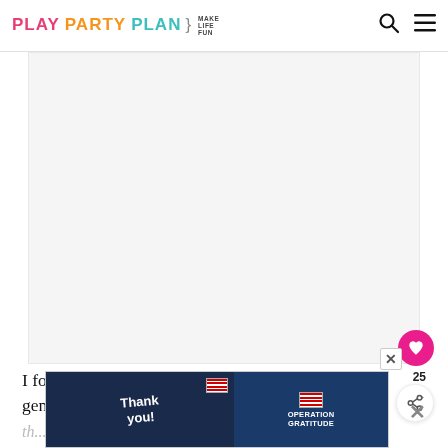PLAY PARTY PLAN | MAKE LIFE FUN
[Figure (photo): Large image placeholder area (white/light gray rectangle) for a blog post photo, likely showing chocolate kisses or candy being swirled.]
I found that the best way to swirl the kisses was to gently grab the tip of the kiss and tu... th... look. Th... o the
[Figure (photo): Advertisement banner showing 'Thank you!' text with a US flag pencil graphic on a dark navy background on the left, and 'Operation Gratitude' logo with US flag on a dark blue background on the right. Has close/X buttons.]